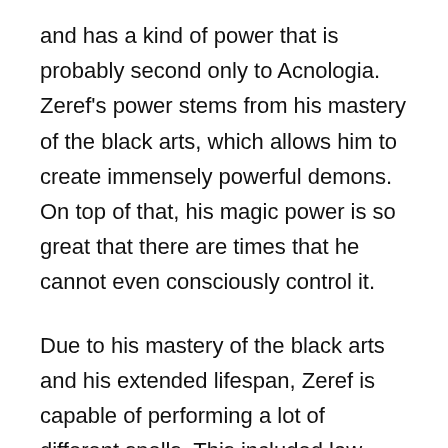and has a kind of power that is probably second only to Acnologia. Zeref's power stems from his mastery of the black arts, which allows him to create immensely powerful demons. On top of that, his magic power is so great that there are times that he cannot even consciously control it.
Due to his mastery of the black arts and his extended lifespan, Zeref is capable of performing a lot of different spells. This included law, which is where fairy law was derived from. Zeref was also the one responsible for teaching Mavis how to do magic, and that speaks to how immensely powerful he is